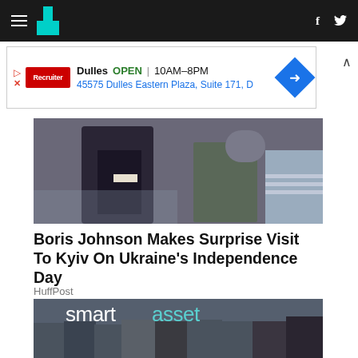HuffPost navigation bar with hamburger menu, logo, and social icons (f, Twitter)
[Figure (other): Advertisement banner: Dulles OPEN | 10AM-8PM, 45575 Dulles Eastern Plaza, Suite 171, D]
[Figure (photo): Photo showing people torsos, one in a dark suit, another in a grey t-shirt, with a decorative background]
Boris Johnson Makes Surprise Visit To Kyiv On Ukraine's Independence Day
HuffPost
[Figure (photo): Group photo of SmartAsset team members standing in front of a wall with the SmartAsset logo. Multiple people wearing SmartAsset t-shirts.]